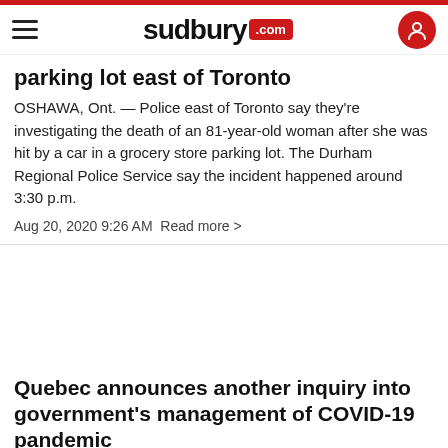sudbury.com
parking lot east of Toronto
OSHAWA, Ont. — Police east of Toronto say they're investigating the death of an 81-year-old woman after she was hit by a car in a grocery store parking lot. The Durham Regional Police Service say the incident happened around 3:30 p.m.
Aug 20, 2020 9:26 AM  Read more >
Quebec announces another inquiry into government's management of COVID-19 pandemic
MONTREAL — Quebec's health and welfare commissioner